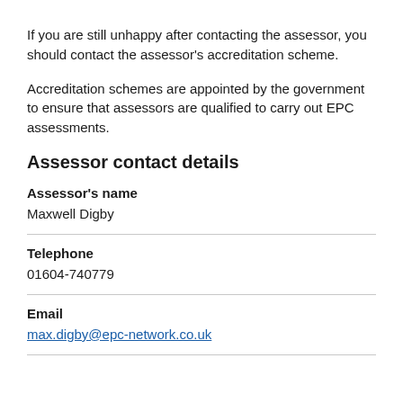If you are still unhappy after contacting the assessor, you should contact the assessor's accreditation scheme.
Accreditation schemes are appointed by the government to ensure that assessors are qualified to carry out EPC assessments.
Assessor contact details
Assessor's name
Maxwell Digby
Telephone
01604-740779
Email
max.digby@epc-network.co.uk